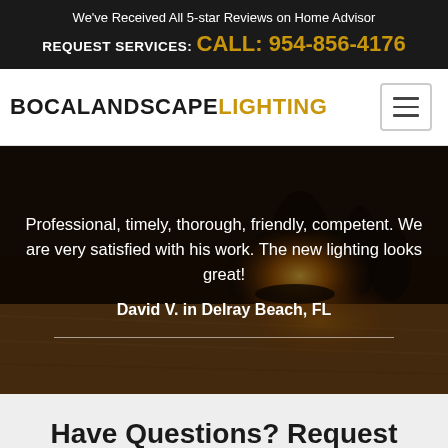We've Received All 5-star Reviews on Home Advisor
REQUEST SERVICES: CALL: 954-856-4176
BOCA LANDSCAPE LIGHTING
[Figure (photo): Night-time landscape lighting photo showing illuminated garden path with warm golden lighting, plants, and stone pavers in the background]
Professional, timely, thorough, friendly, competent. We are very satisfied with his work. The new lighting looks great!
David V. in Delray Beach, FL
Have Questions? Request